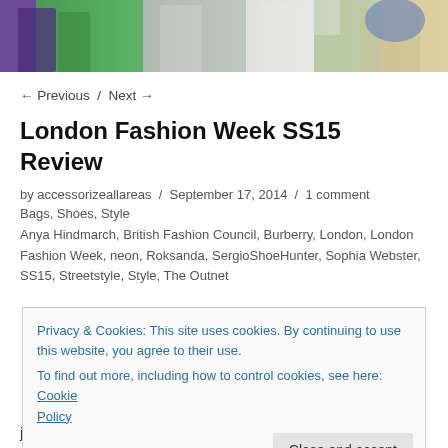[Figure (photo): Cropped photo strip showing people in colourful outfits (purple, green, white) at a fashion event]
← Previous  /  Next →
London Fashion Week SS15 Review
by accessorizeallareas  /  September 17, 2014  /  1 comment
Bags, Shoes, Style
Anya Hindmarch, British Fashion Council, Burberry, London, London Fashion Week, neon, Roksanda, SergioShoeHunter, Sophia Webster, SS15, Streetstyle, Style, The Outnet
Privacy & Cookies: This site uses cookies. By continuing to use this website, you agree to their use.
To find out more, including how to control cookies, see here: Cookie Policy
jungle at Sophia Webster. fans of brightly coloured accessories